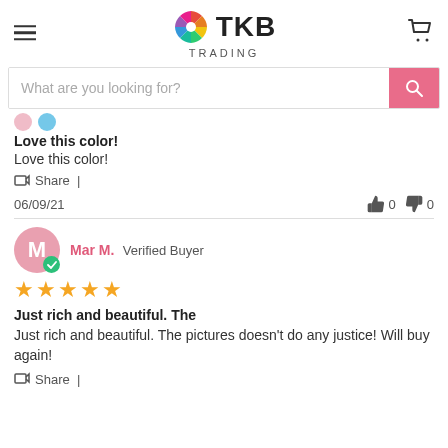TKB TRADING
What are you looking for?
Love this color!
Love this color!
Share |
06/09/21   👍 0   👎 0
Mar M.  Verified Buyer  ★★★★★
Just rich and beautiful. The
Just rich and beautiful. The pictures doesn't do any justice! Will buy again!
Share |